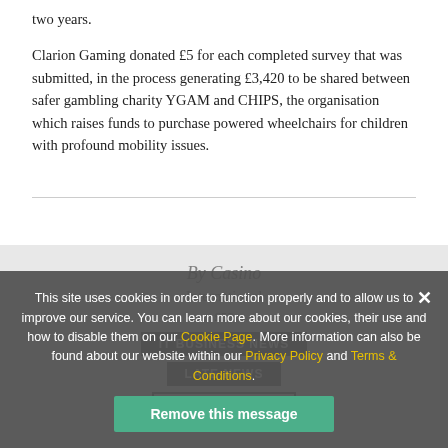two years.
Clarion Gaming donated £5 for each completed survey that was submitted, in the process generating £3,420 to be shared between safer gambling charity YGAM and CHIPS, the organisation which raises funds to purchase powered wheelchairs for children with profound mobility issues.
[Figure (other): Faded background area showing casino international attribution text and tag buttons (By Casino International, IT/BUSINESS NEWS, LATE NEWS, SHOW PREVIEW) partially visible beneath cookie consent overlay]
This site uses cookies in order to function properly and to allow us to improve our service. You can learn more about our cookies, their use and how to disable them on our Cookie Page. More information can also be found about our website within our Privacy Policy and Terms & Conditions.